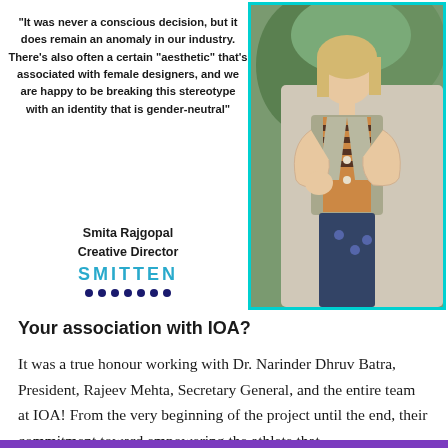"It was never a conscious decision, but it does remain an anomaly in our industry. There's also often a certain "aesthetic" that's associated with female designers, and we are happy to be breaking this stereotype with an identity that is gender-neutral"
[Figure (photo): A woman with light hair wearing a beige sleeveless vest over a striped top, arms crossed, photographed outdoors with greenery in background. Image has a teal/cyan border.]
Smita Rajgopal
Creative Director
[Figure (logo): SMITTEN logo in cyan/teal bold uppercase letters with decorative underline dots]
Your association with IOA?
It was a true honour working with Dr. Narinder Dhruv Batra, President, Rajeev Mehta, Secretary General, and the entire team at IOA! From the very beginning of the project until the end, their commitment toward empowering the athlete that